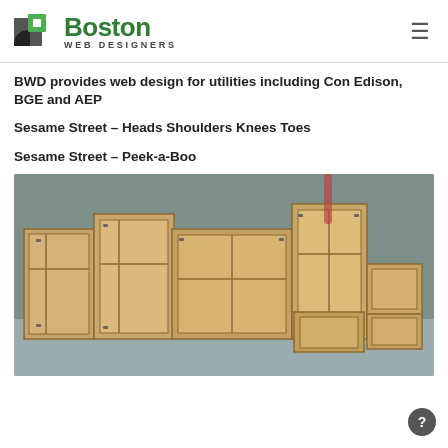[Figure (logo): Boston Web Designers logo with green square icon and stylized text]
BWD provides web design for utilities including Con Edison, BGE and AEP
Sesame Street – Heads Shoulders Knees Toes
Sesame Street – Peek-a-Boo
[Figure (photo): Several wooden shipping crates of various sizes arranged in a warehouse or storage area]